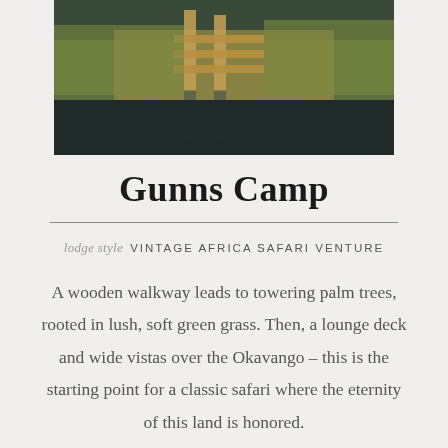[Figure (photo): Aerial or eye-level photograph of a wooden walkway/dock over a wetland with tall grasses and water reflections, likely the Okavango Delta.]
Gunns Camp
lodge style  VINTAGE AFRICA SAFARI VENTURE
A wooden walkway leads to towering palm trees, rooted in lush, soft green grass. Then, a lounge deck and wide vistas over the Okavango – this is the starting point for a classic safari where the eternity of this land is honored.